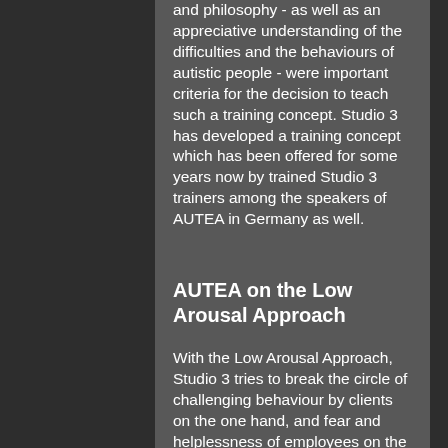and philosophy - as well as an appreciative understanding of the difficulties and the behaviours of autistic people - were important criteria for the decision to teach such a training concept. Studio 3 has developed a training concept which has been offered for some years now by trained Studio 3 trainers among the speakers of AUTEA in Germany as well.
AUTEA on the Low Arousal Approach
With the Low Arousal Approach, Studio 3 tries to break the circle of challenging behaviour by clients on the one hand, and fear and helplessness of employees on the other hand. The goal is to achieve de-escalation and stress reduction and, if possible, to prevent an